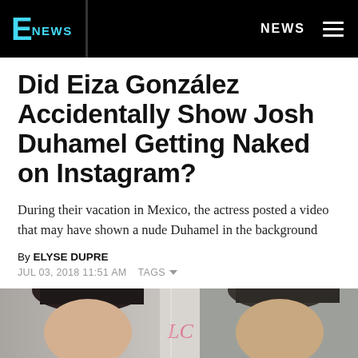E NEWS | NEWS
Did Eiza González Accidentally Show Josh Duhamel Getting Naked on Instagram?
During their vacation in Mexico, the actress posted a video that may have shown a nude Duhamel in the background
By ELYSE DUPRE
JUL 03, 2018 11:51 AM  TAGS
[Figure (photo): Photo strip showing two people side by side with LC watermark text in the center]